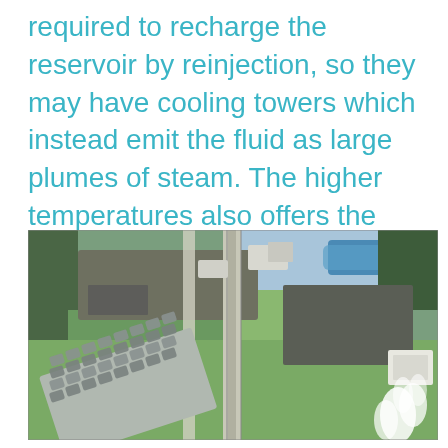required to recharge the reservoir by reinjection, so they may have cooling towers which instead emit the fluid as large plumes of steam. The higher temperatures also offers the potential for generating more electricity, but with more electricity comes significantly more cooling fans and pipework.
[Figure (photo): Aerial photograph of a geothermal power station showing large cooling fan arrays, pipework, buildings, green fields, and steam plumes in a rural landscape with a river visible in the background.]